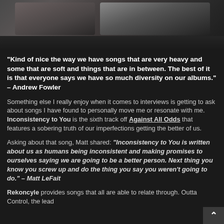[Figure (photo): Band photo, partial view showing people seated outdoors with dark background]
“Kind of nice the way we have songs that are very heavy and some that are soft and things that are in between. The best of it is that everyone says we have so much diversity on our albums.” – Andrew Fowler
Something else I really enjoy when it comes to interviews is getting to ask about songs I have found to personally move me or resonate with me. Inconsistency to You is the sixth track off Against All Odds that features a sobering truth of our imperfections getting the better of us.
Asking about that song, Matt shared: “Inconsistency to You is written about us as humans being inconsistent and making promises to ourselves saying we are going to be a better person. Next thing you know you screw up and do the thing you say you weren’t going to do.” – Matt LeFait
Rekoncyle provides songs that all are able to relate through. Outta Control, the lead single, is the one setting the bar for what’s to come across the rest of the album.